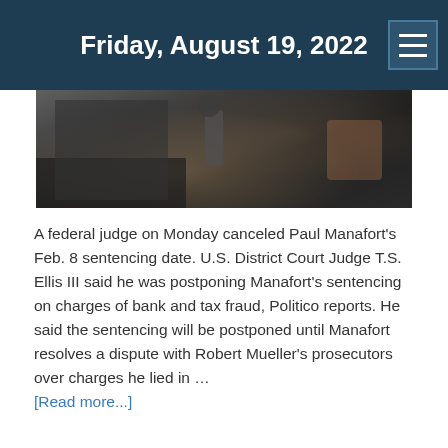Friday, August 19, 2022
[Figure (photo): Dark photograph showing a person at a microphone, partial view of hands and clothing in background]
A federal judge on Monday canceled Paul Manafort's Feb. 8 sentencing date. U.S. District Court Judge T.S. Ellis III said he was postponing Manafort's sentencing on charges of bank and tax fraud, Politico reports. He said the sentencing will be postponed until Manafort resolves a dispute with Robert Mueller's prosecutors over charges he lied in … [Read more...]